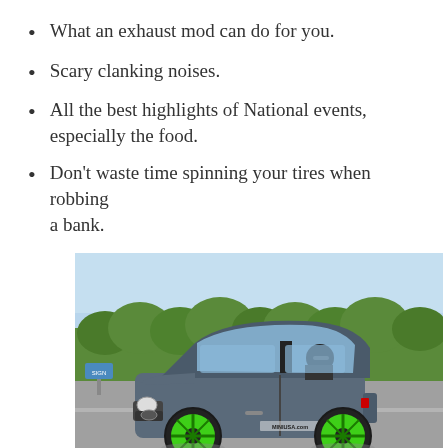What an exhaust mod can do for you.
Scary clanking noises.
All the best highlights of National events, especially the food.
Don't waste time spinning your tires when robbing a bank.
[Figure (photo): A blue Mini Cooper with green wheels and racing stickers, driven by a person wearing sunglasses, on a road with trees in the background. The car has a MINIUSA.com sticker on the side.]